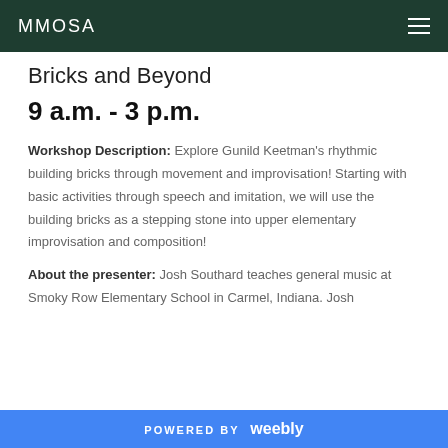MMOSA
Bricks and Beyond
9 a.m. - 3 p.m.
Workshop Description:  Explore Gunild Keetman's rhythmic building bricks through movement and improvisation!  Starting with basic activities through speech and imitation, we will use the building bricks as a stepping stone into upper elementary improvisation and composition!
About the presenter:  Josh Southard teaches general music at Smoky Row Elementary School in Carmel, Indiana.  Josh
POWERED BY weebly